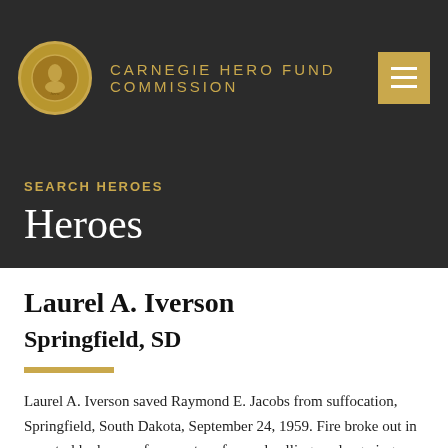CARNEGIE HERO FUND COMMISSION
SEARCH HEROES
Heroes
Laurel A. Iverson
Springfield, SD
Laurel A. Iverson saved Raymond E. Jacobs from suffocation, Springfield, South Dakota, September 24, 1959. Fire broke out in a central bedroom of a one story frame dwelling, endangering Jacobs, 54, liquor store clerk, who was crippled and unable to move about without assistance.